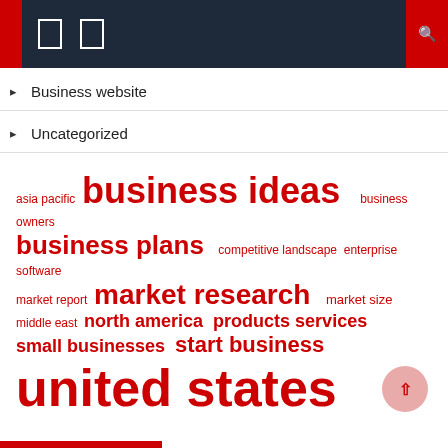Navigation header bar with icons
Business website
Uncategorized
[Figure (infographic): Tag cloud with terms in red at varying font sizes: asia pacific, business ideas (largest), business owners, business plans, competitive landscape, enterprise software, market report, market research, market size, middle east, north america, products services, small businesses, start business, united states (very large)]